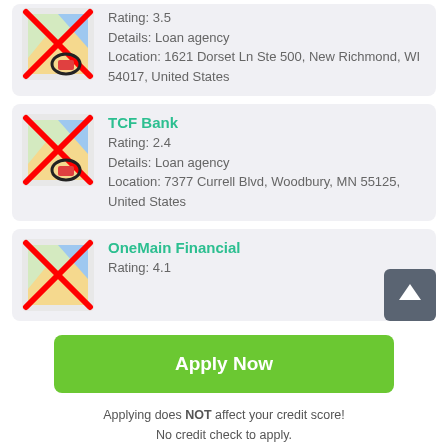Rating: 3.5
Details: Loan agency
Location: 1621 Dorset Ln Ste 500, New Richmond, WI 54017, United States
TCF Bank
Rating: 2.4
Details: Loan agency
Location: 7377 Currell Blvd, Woodbury, MN 55125, United States
OneMain Financial
Rating: 4.1
Apply Now
Applying does NOT affect your credit score!
No credit check to apply.